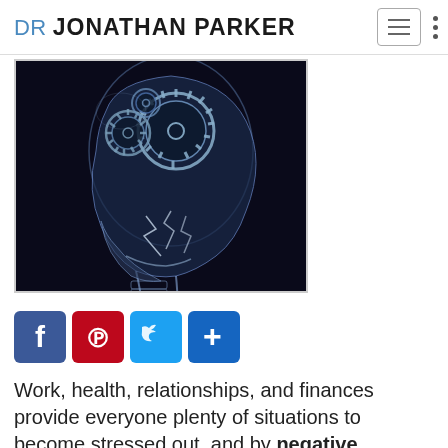DR JONATHAN PARKER
[Figure (photo): X-ray style illustration of a human head in profile with mechanical gears visible inside the brain area, on a dark background]
[Figure (infographic): Social sharing buttons: Facebook (blue), Pinterest (red), Twitter (light blue), Share/Add (dark blue)]
Work, health, relationships, and finances provide everyone plenty of situations to become stressed out, and by negative thought patterns...